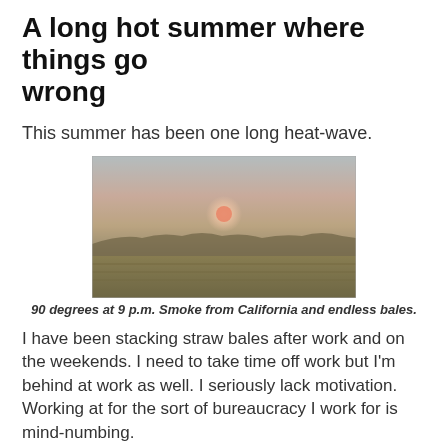A long hot summer where things go wrong
This summer has been one long heat-wave.
[Figure (photo): A hazy landscape at sunset or dusk with a pale red/pink sun visible through smoke, and flat fields with hay bales in the foreground.]
90 degrees at 9 p.m. Smoke from California and endless bales.
I have been stacking straw bales after work and on the weekends. I need to take time off work but I'm behind at work as well. I seriously lack motivation.
Working at for the sort of bureaucracy I work for is mind-numbing.
For example...
The local soil conservation district is doing a restoration project on the creek on campus. I think was spearheaded by